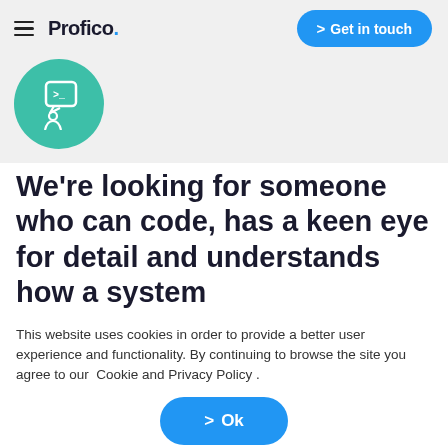Profico. Get in touch
[Figure (logo): Teal circular icon with a person and speech bubble containing code symbols]
We're looking for someone who can code, has a keen eye for detail and understands how a system
This website uses cookies in order to provide a better user experience and functionality. By continuing to browse the site you agree to our Cookie and Privacy Policy .
> Ok